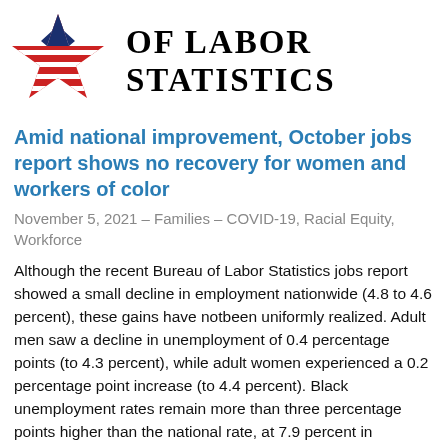[Figure (logo): Bureau of Labor Statistics logo: red star with horizontal stripes on left, text 'OF LABOR STATISTICS' in bold serif on right]
Amid national improvement, October jobs report shows no recovery for women and workers of color
November 5, 2021 – Families – COVID-19, Racial Equity, Workforce
Although the recent Bureau of Labor Statistics jobs report showed a small decline in employment nationwide (4.8 to 4.6 percent), these gains have notbeen uniformly realized. Adult men saw a decline in unemployment of 0.4 percentage points (to 4.3 percent), while adult women experienced a 0.2 percentage point increase (to 4.4 percent). Black unemployment rates remain more than three percentage points higher than the national rate, at 7.9 percent in October, with Hispanic rates also above national levels, at 5.9 percent.